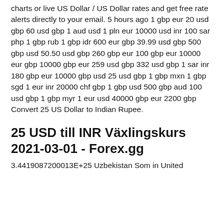charts or live US Dollar / US Dollar rates and get free rate alerts directly to your email. 5 hours ago 1 gbp eur 20 usd gbp 60 usd gbp 1 aud usd 1 pln eur 10000 usd inr 100 sar php 1 gbp rub 1 gbp idr 600 eur gbp 39.99 usd gbp 500 gbp usd 50.50 usd gbp 260 gbp eur 100 gbp eur 10000 eur gbp 10000 gbp eur 259 usd gbp 332 usd gbp 1 sar inr 180 gbp eur 10000 gbp usd 25 usd gbp 1 gbp mxn 1 gbp sgd 1 eur inr 20000 chf gbp 1 gbp usd 500 gbp aud 100 usd gbp 1 gbp myr 1 eur usd 40000 gbp eur 2200 gbp Convert 25 US Dollar to Indian Rupee.
25 USD till INR Växlingskurs 2021-03-01 - Forex.gg
3.4419087200013E+25 Uzbekistan Som in United